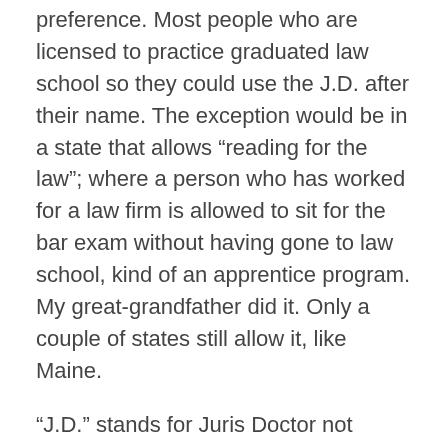preference. Most people who are licensed to practice graduated law school so they could use the J.D. after their name. The exception would be in a state that allows “reading for the law”; where a person who has worked for a law firm is allowed to sit for the bar exam without having gone to law school, kind of an apprentice program. My great-grandfather did it. Only a couple of states still allow it, like Maine.
“J.D.” stands for Juris Doctor not doctorate. It is confusing because the kind of degree that is conferred when the person in question graduates law school is a doctorate. Some schools even had “doctorate” on the diploma they give out. Mine did until someone did some